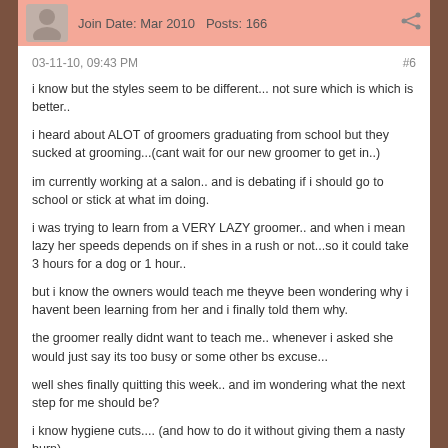Join Date: Mar 2010   Posts: 166
03-11-10, 09:43 PM   #6
i know but the styles seem to be different... not sure which is which is better..

i heard about ALOT of groomers graduating from school but they sucked at grooming...(cant wait for our new groomer to get in..)

im currently working at a salon.. and is debating if i should go to school or stick at what im doing.

i was trying to learn from a VERY LAZY groomer.. and when i mean lazy her speeds depends on if shes in a rush or not...so it could take 3 hours for a dog or 1 hour..

but i know the owners would teach me theyve been wondering why i havent been learning from her and i finally told them why.

the groomer really didnt want to teach me.. whenever i asked she would just say its too busy or some other bs excuse...

well shes finally quitting this week.. and im wondering what the next step for me should be?

i know hygiene cuts.... (and how to do it without giving them a nasty burn)